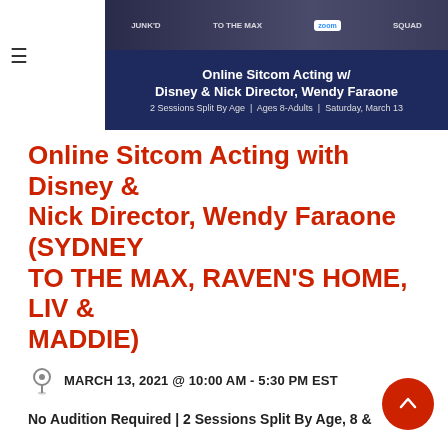[Figure (photo): Banner image with TV show stills and a dark blue background. Shows 'Online Sitcom Acting w/ Disney & Nick Director, Wendy Faraone' with subtitle '2 Sessions Split By Age | Ages 8-Adults | Saturday, March 13']
Online Sitcom Acting with Disney & Nick Director, Wendy Faraone (SYDNEY TO THE MAX, RAVEN'S HOME, LIV & MADDIE)
MARCH 13, 2021 @ 10:00 AM - 5:30 PM EST
No Audition Required | 2 Sessions Split By Age, 8 & Up | Saturday, March 13 | Cost to Participate 205.00 | Cost to Observe 40.00
SOLD OUT! JOIN THE WAITLIST or PURCHASE AN